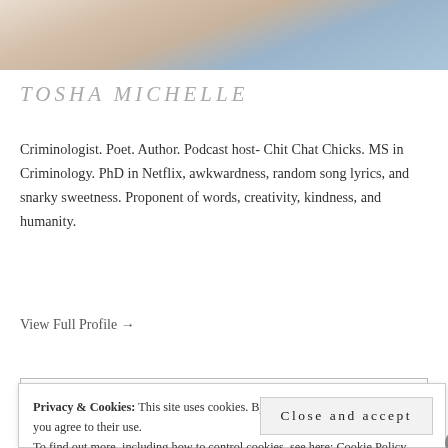[Figure (photo): Cropped photo of a blonde woman wearing a blue floral top, showing face/neck/shoulders area cut off at top]
TOSHA MICHELLE
Criminologist. Poet. Author. Podcast host- Chit Chat Chicks. MS in Criminology. PhD in Netflix, awkwardness, random song lyrics, and snarky sweetness. Proponent of words, creativity, kindness, and humanity.
View Full Profile →
Privacy & Cookies: This site uses cookies. By continuing to use this website, you agree to their use.
To find out more, including how to control cookies, see here: Cookie Policy
Close and accept